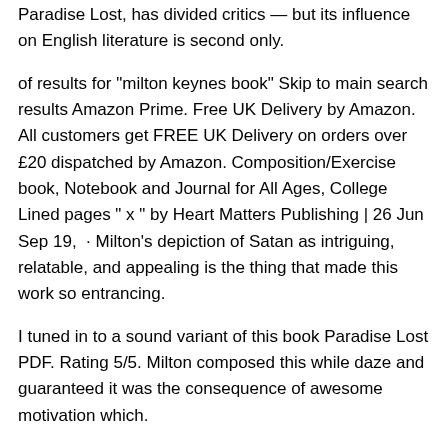Paradise Lost, has divided critics — but its influence on English literature is second only.
of results for "milton keynes book" Skip to main search results Amazon Prime. Free UK Delivery by Amazon. All customers get FREE UK Delivery on orders over £20 dispatched by Amazon. Composition/Exercise book, Notebook and Journal for All Ages, College Lined pages " x " by Heart Matters Publishing | 26 Jun Sep 19,  · Milton's depiction of Satan as intriguing, relatable, and appealing is the thing that made this work so entrancing.
I tuned in to a sound variant of this book Paradise Lost PDF. Rating 5/5. Milton composed this while daze and guaranteed it was the consequence of awesome motivation which.
Aug 02,  · Who Was Milton Bradley. One September evening ina young man stepped off a train in New York City. He had taken three trains to get there from Springfield, Massachusetts.
Milton Bradley thought Springfield was a big city, but it was nothing compared to New York. The streets were crowded with people,